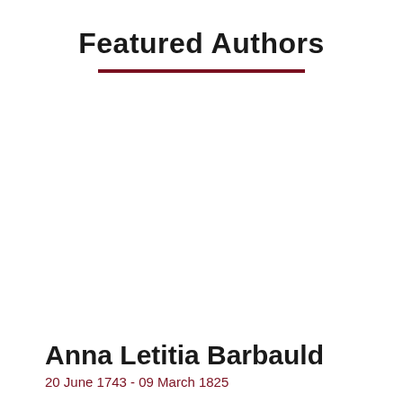Featured Authors
Anna Letitia Barbauld
20 June 1743 - 09 March 1825